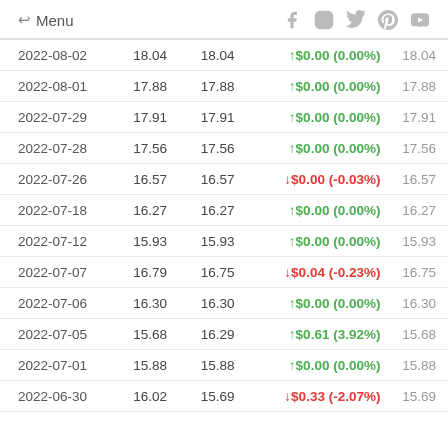← Menu  (social icons: Facebook, Instagram, Twitter, Pinterest, YouTube)
| Date | Col2 | Col3 | Change | Last |
| --- | --- | --- | --- | --- |
| 2022-08-02 | 18.04 | 18.04 | ↑$0.00 (0.00%) | 18.04 |
| 2022-08-01 | 17.88 | 17.88 | ↑$0.00 (0.00%) | 17.88 |
| 2022-07-29 | 17.91 | 17.91 | ↑$0.00 (0.00%) | 17.91 |
| 2022-07-28 | 17.56 | 17.56 | ↑$0.00 (0.00%) | 17.56 |
| 2022-07-26 | 16.57 | 16.57 | ↓$0.00 (-0.03%) | 16.57 |
| 2022-07-18 | 16.27 | 16.27 | ↑$0.00 (0.00%) | 16.27 |
| 2022-07-12 | 15.93 | 15.93 | ↑$0.00 (0.00%) | 15.93 |
| 2022-07-07 | 16.79 | 16.75 | ↓$0.04 (-0.23%) | 16.75 |
| 2022-07-06 | 16.30 | 16.30 | ↑$0.00 (0.00%) | 16.30 |
| 2022-07-05 | 15.68 | 16.29 | ↑$0.61 (3.92%) | 15.68 |
| 2022-07-01 | 15.88 | 15.88 | ↑$0.00 (0.00%) | 15.88 |
| 2022-06-30 | 16.02 | 15.69 | ↓$0.33 (-2.07%) | 15.69 |